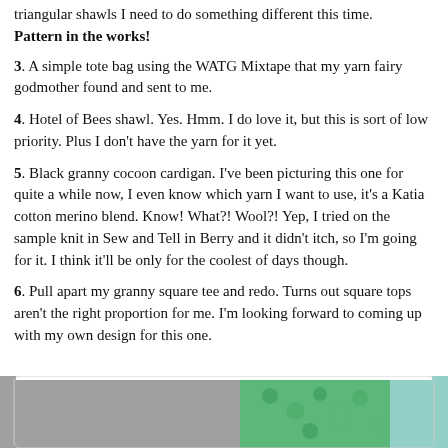triangular shawls I need to do something different this time. Pattern in the works!
3. A simple tote bag using the WATG Mixtape that my yarn fairy godmother found and sent to me.
4. Hotel of Bees shawl. Yes. Hmm. I do love it, but this is sort of low priority. Plus I don't have the yarn for it yet.
5. Black granny cocoon cardigan. I've been picturing this one for quite a while now, I even know which yarn I want to use, it's a Katia cotton merino blend. Know! What?! Wool?! Yep, I tried on the sample knit in Sew and Tell in Berry and it didn't itch, so I'm going for it. I think it'll be only for the coolest of days though.
6. Pull apart my granny square tee and redo. Turns out square tops aren't the right proportion for me. I'm looking forward to coming up with my own design for this one.
[Figure (photo): Photo of crochet/knitting work, gray and green yarn textures visible]